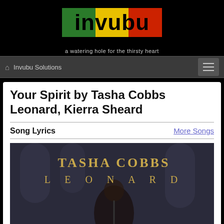[Figure (logo): Invubu logo with green, yellow, and red colored blocks and bold black text 'invubu']
a watering hole for the thirsty heart
🏠 Invubu Solutions
Your Spirit by Tasha Cobbs Leonard, Kierra Sheard
Song Lyrics
More Songs
[Figure (photo): Album cover showing 'TASHA COBBS LEONARD' text in gold/cream letters over a dark background with a woman performing]